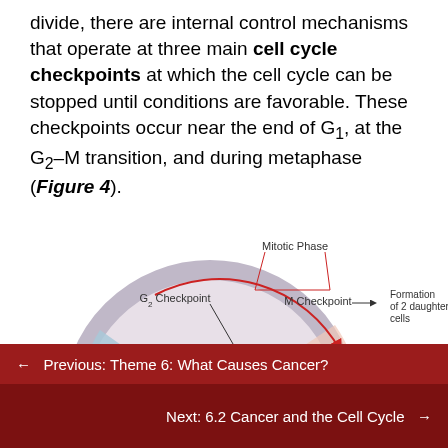divide, there are internal control mechanisms that operate at three main cell cycle checkpoints at which the cell cycle can be stopped until conditions are favorable. These checkpoints occur near the end of G1, at the G2–M transition, and during metaphase (Figure 4).
[Figure (other): Circular cell cycle diagram showing G2, Mitotic Phase, M Checkpoint, G2 Checkpoint, Cell growth region, DNA region, and formation of 2 daughter cells label. Red arrows show cycle direction. Small squares mark checkpoint locations.]
← Previous: Theme 6: What Causes Cancer?
Next: 6.2 Cancer and the Cell Cycle →